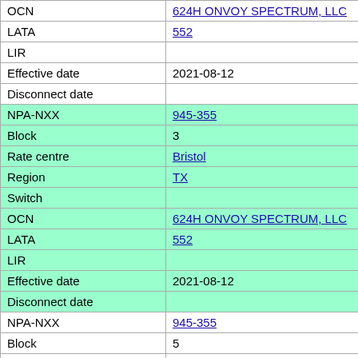| Field | Value |
| --- | --- |
| OCN | 624H ONVOY SPECTRUM, LLC |
| LATA | 552 |
| LIR |  |
| Effective date | 2021-08-12 |
| Disconnect date |  |
| NPA-NXX | 945-355 |
| Block | 3 |
| Rate centre | Bristol |
| Region | TX |
| Switch |  |
| OCN | 624H ONVOY SPECTRUM, LLC |
| LATA | 552 |
| LIR |  |
| Effective date | 2021-08-12 |
| Disconnect date |  |
| NPA-NXX | 945-355 |
| Block | 5 |
| Rate centre | Bristol |
| Region | TX |
| Switch |  |
| OCN | 903C ONVOY, LLC - TX |